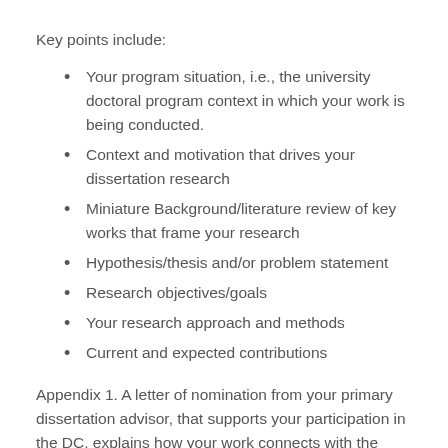Key points include:
Your program situation, i.e., the university doctoral program context in which your work is being conducted.
Context and motivation that drives your dissertation research
Miniature Background/literature review of key works that frame your research
Hypothesis/thesis and/or problem statement
Research objectives/goals
Your research approach and methods
Current and expected contributions
Appendix 1. A letter of nomination from your primary dissertation advisor, that supports your participation in the DC, explains how your work connects with the ICER community, and describes the expected timeline